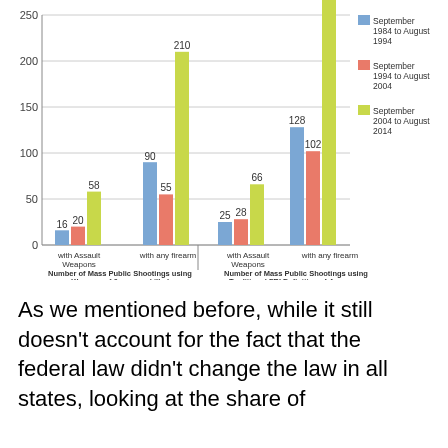[Figure (grouped-bar-chart): ]
As we mentioned before, while it still doesn't account for the fact that the federal law didn't change the law in all states, looking at the share of